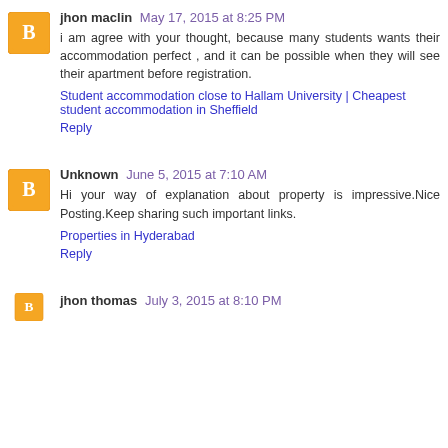jhon maclin  May 17, 2015 at 8:25 PM
i am agree with your thought, because many students wants their accommodation perfect , and it can be possible when they will see their apartment before registration.
Student accommodation close to Hallam University | Cheapest student accommodation in Sheffield
Reply
Unknown  June 5, 2015 at 7:10 AM
Hi your way of explanation about property is impressive.Nice Posting.Keep sharing such important links.
Properties in Hyderabad
Reply
jhon thomas  July 3, 2015 at 8:10 PM